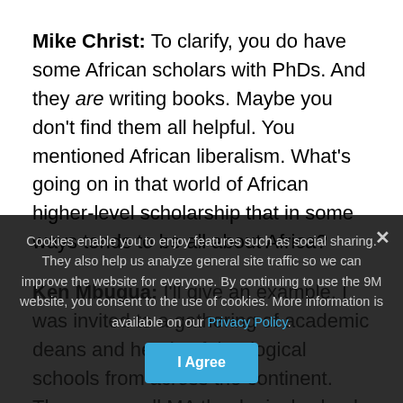Mike Christ: To clarify, you do have some African scholars with PhDs. And they are writing books. Maybe you don't find them all helpful. You mentioned African liberalism. What's going on in that world of African higher-level scholarship that in some ways tends to be all about Africa?
Ken Mbugua: I'll give an example. I was invited to a gathering of academic deans and heads of theological schools from across the continent. These were all MA theological schools and I was surprised by the approach to teaching. The situation that I found most concerning. Their approach to truth, their epistemology, is not grounded in the Scriptures. It starts with culture.
Cookies enable you to enjoy features such as social sharing. They also help us analyze general site traffic so we can improve the website for everyone. By continuing to use the 9M website, you consent to the use of cookies. More information is available on our Privacy Policy. I Agree